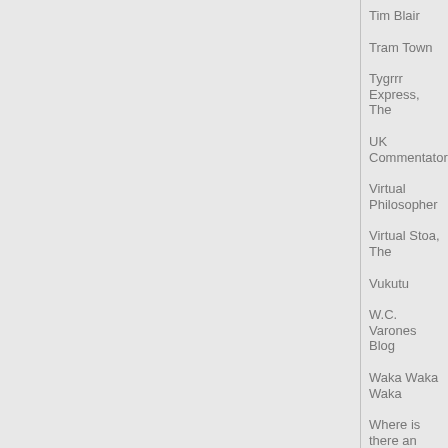Tim Blair
Tram Town
Tygrrr Express, The
UK Commentators
Virtual Philosopher
Virtual Stoa, The
Vukutu
W.C. Varones Blog
Waka Waka Waka
Where is there an end of it?
Whisky and Tea
Whispering Gums
White Sun of the Desert
Wind Rose Hotel (Italian)
Wog Blog
Word Den, The
Writer's Life, A
Yaacov Lozowick's Ruminations